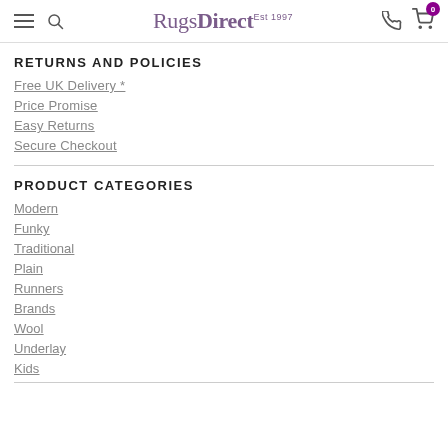RugsDirect Est 1997
RETURNS AND POLICIES
Free UK Delivery *
Price Promise
Easy Returns
Secure Checkout
PRODUCT CATEGORIES
Modern
Funky
Traditional
Plain
Runners
Brands
Wool
Underlay
Kids